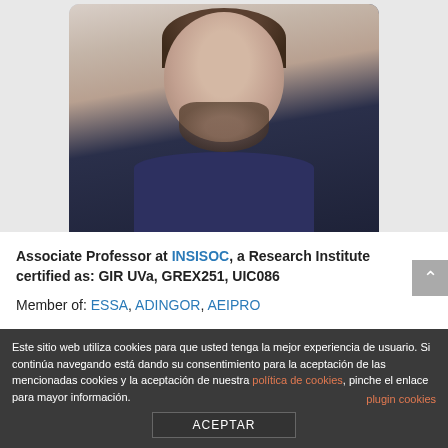[Figure (photo): Profile photo of a man with beard wearing a dark navy shirt, smiling, against a light background]
Associate Professor at INSISOC, a Research Institute certified as: GIR UVa, GREX251, UIC086
Member of: ESSA, ADINGOR, AEIPRO
[partially visible link text]
Este sitio web utiliza cookies para que usted tenga la mejor experiencia de usuario. Si continúa navegando está dando su consentimiento para la aceptación de las mencionadas cookies y la aceptación de nuestra política de cookies, pinche el enlace para mayor información.
plugin cookies
ACEPTAR